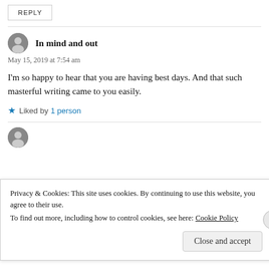REPLY
In mind and out
May 15, 2019 at 7:54 am
I'm so happy to hear that you are having best days. And that such masterful writing came to you easily.
Liked by 1 person
Privacy & Cookies: This site uses cookies. By continuing to use this website, you agree to their use. To find out more, including how to control cookies, see here: Cookie Policy
Close and accept